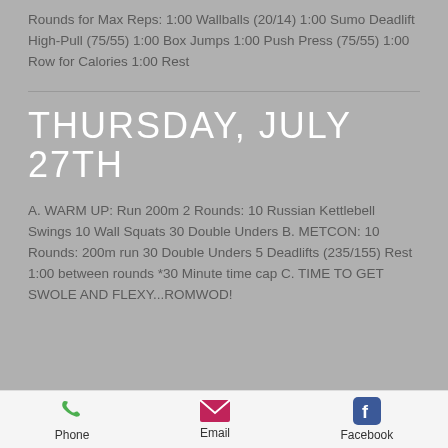Rounds for Max Reps: 1:00 Wallballs (20/14) 1:00 Sumo Deadlift High-Pull (75/55) 1:00 Box Jumps 1:00 Push Press (75/55) 1:00 Row for Calories 1:00 Rest
THURSDAY, JULY 27TH
A. WARM UP: Run 200m 2 Rounds: 10 Russian Kettlebell Swings 10 Wall Squats 30 Double Unders B. METCON: 10 Rounds: 200m run 30 Double Unders 5 Deadlifts (235/155) Rest 1:00 between rounds *30 Minute time cap C. TIME TO GET SWOLE AND FLEXY...ROMWOD!
Phone  Email  Facebook